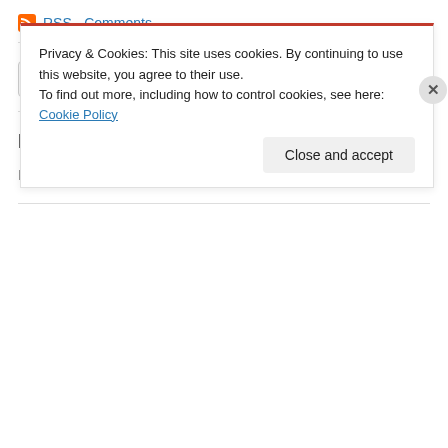RSS - Comments
[Figure (illustration): Bloglovin follow button with RSS icon and bloglovin brand name]
Follow on Instagram!
No Instagram images were found.
Privacy & Cookies: This site uses cookies. By continuing to use this website, you agree to their use. To find out more, including how to control cookies, see here: Cookie Policy
Close and accept